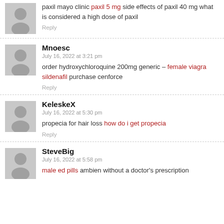paxil mayo clinic paxil 5 mg side effects of paxil 40 mg what is considered a high dose of paxil
Reply
Mnoesc
July 16, 2022 at 3:21 pm
order hydroxychloroquine 200mg generic – female viagra sildenafil purchase cenforce
Reply
KeleskeX
July 16, 2022 at 5:30 pm
propecia for hair loss how do i get propecia
Reply
SteveBig
July 16, 2022 at 5:58 pm
male ed pills ambien without a doctor's prescription